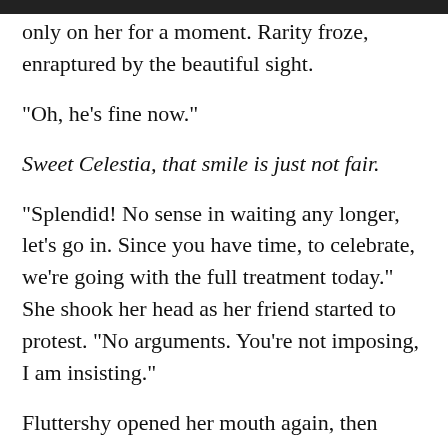only on her for a moment. Rarity froze, enraptured by the beautiful sight.
"Oh, he's fine now."
Sweet Celestia, that smile is just not fair.
"Splendid! No sense in waiting any longer, let's go in. Since you have time, to celebrate, we're going with the full treatment today." She shook her head as her friend started to protest. “No arguments. You’re not imposing, I am insisting.”
Fluttershy opened her mouth again, then allowed it to close. She nodded in acquiescence. “Thank you,” she said finally.